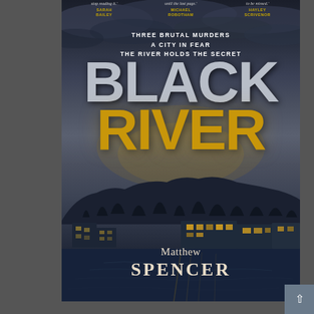[Figure (illustration): Book cover for 'Black River' by Matthew Spencer. Dark atmospheric cover with stormy sky, silhouetted trees and lakeside buildings. 'BLACK' in large silver/grey letters, 'RIVER' in large gold/amber letters. Taglines: 'THREE BRUTAL MURDERS / A CITY IN FEAR / THE RIVER HOLDS THE SECRET'. Blurbs from Sarah Bailey, Michael Robotham, and Hayley Scrivenor at top. Author name 'Matthew SPENCER' at bottom in cream/white serif font.]